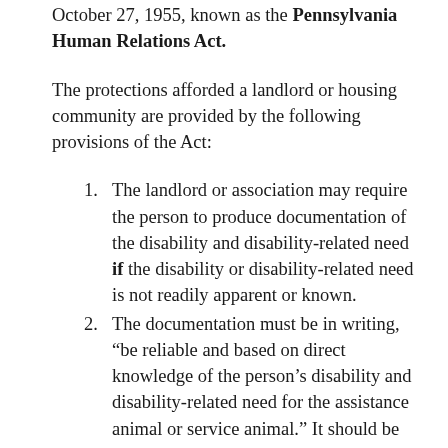October 27, 1955, known as the Pennsylvania Human Relations Act.
The protections afforded a landlord or housing community are provided by the following provisions of the Act:
1. The landlord or association may require the person to produce documentation of the disability and disability-related need if the disability or disability-related need is not readily apparent or known.
2. The documentation must be in writing, “be reliable and based on direct knowledge of the person’s disability and disability-related need for the assistance animal or service animal.”  It should be noted that there is nothing in the Act which requires that the documentation be